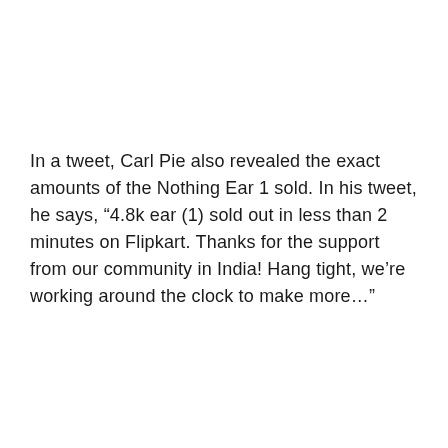In a tweet, Carl Pie also revealed the exact amounts of the Nothing Ear 1 sold. In his tweet, he says, “4.8k ear (1) sold out in less than 2 minutes on Flipkart. Thanks for the support from our community in India! Hang tight, we’re working around the clock to make more…”